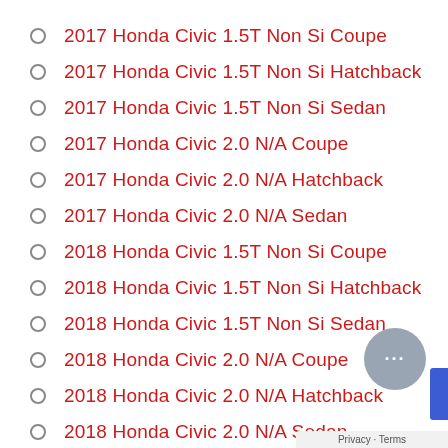2017 Honda Civic 1.5T Non Si Coupe
2017 Honda Civic 1.5T Non Si Hatchback
2017 Honda Civic 1.5T Non Si Sedan
2017 Honda Civic 2.0 N/A Coupe
2017 Honda Civic 2.0 N/A Hatchback
2017 Honda Civic 2.0 N/A Sedan
2018 Honda Civic 1.5T Non Si Coupe
2018 Honda Civic 1.5T Non Si Hatchback
2018 Honda Civic 1.5T Non Si Sedan
2018 Honda Civic 2.0 N/A Coupe
2018 Honda Civic 2.0 N/A Hatchback
2018 Honda Civic 2.0 N/A Sedan
2019 Honda Civic 1.5T Non Si Coupe
2019 Honda Civic 1.5T Non Si Hatchback